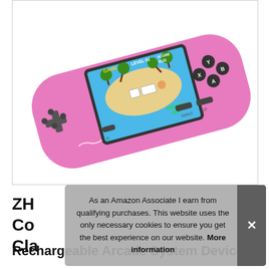[Figure (photo): Pink handheld gaming console with D-pad on left, XYAB buttons on right, a screen showing an island game with 'GAME', 'LEVEL 01', 'SCORE 0123', 'RESTART', 'QUIT' text, and Select/SP buttons at bottom. Select and R labels visible.]
ZH... Co... Cl... Rechargeable Arcade System Device
As an Amazon Associate I earn from qualifying purchases. This website uses the only necessary cookies to ensure you get the best experience on our website. More information